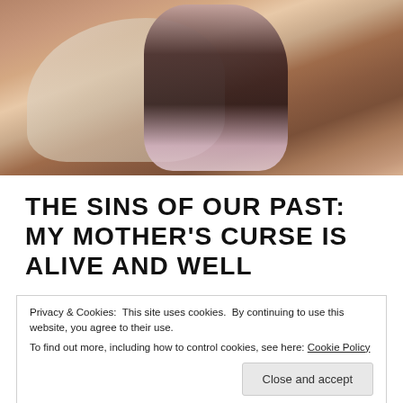[Figure (photo): Vintage photograph of a young child in a dark outfit with white collar sitting on or near a cream-colored armchair, holding something white, in an indoor setting with warm tones.]
THE SINS OF OUR PAST: MY MOTHER'S CURSE IS ALIVE AND WELL
Privacy & Cookies: This site uses cookies. By continuing to use this website, you agree to their use.
To find out more, including how to control cookies, see here: Cookie Policy
[Close and accept]
tiny little hands, squeeze every last ounce of love out of it